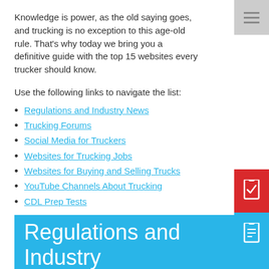Knowledge is power, as the old saying goes, and trucking is no exception to this age-old rule. That's why today we bring you a definitive guide with the top 15 websites every trucker should know.
Use the following links to navigate the list:
Regulations and Industry News
Trucking Forums
Social Media for Truckers
Websites for Trucking Jobs
Websites for Buying and Selling Trucks
YouTube Channels About Trucking
CDL Prep Tests
Regulations and Industry News
Federal Motor Carrier Safety Administration (FMCSA)